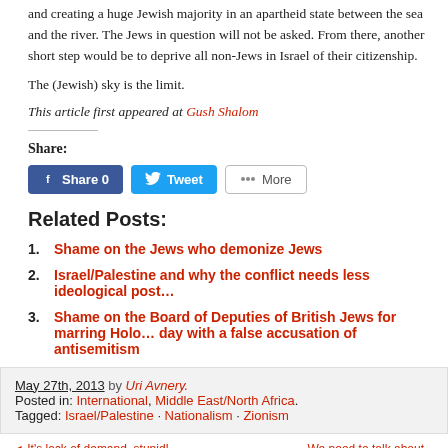and creating a huge Jewish majority in an apartheid state between the sea and the river. The Jews in question will not be asked. From there, another short step would be to deprive all non-Jews in Israel of their citizenship.
The (Jewish) sky is the limit.
This article first appeared at Gush Shalom
Share:
[Figure (other): Social share buttons: Facebook Share 0, Tweet, More]
Related Posts:
1. Shame on the Jews who demonize Jews
2. Israel/Palestine and why the conflict needs less ideological post...
3. Shame on the Board of Deputies of British Jews for marring Holocaust day with a false accusation of antisemitism
May 27th, 2013 by Uri Avnery. Posted in: International, Middle East/North Africa. Tagged: Israel/Palestine · Nationalism · Zionism
◄ It's lack of demand, stupid! ... We need to talk about...